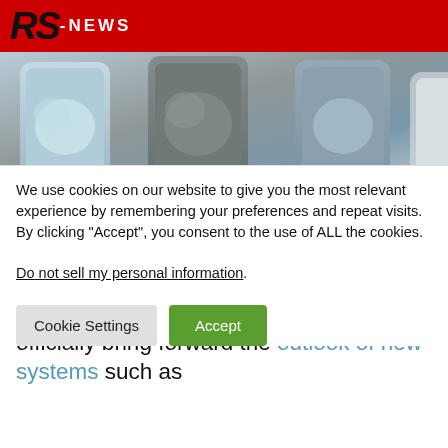RS-NEWS
[Figure (photo): Hero image showing multiple smartphones laid flat with floral/nature wallpapers, viewed from above on a light background]
Last week, Apple officially announced that it will formally hold the WWDC21 Global Developers Conference on June 7, (next Tuesday). This conference will officially bring forward the outlook of new systems such as
We use cookies on our website to give you the most relevant experience by remembering your preferences and repeat visits. By clicking “Accept”, you consent to the use of ALL the cookies.
Do not sell my personal information.